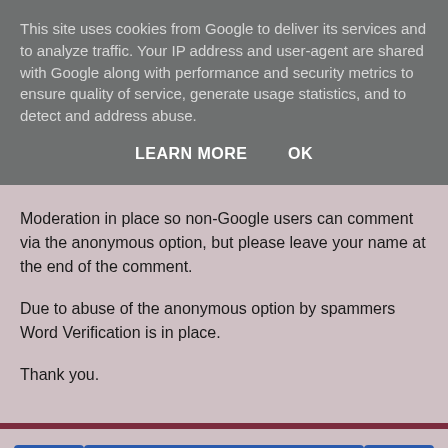This site uses cookies from Google to deliver its services and to analyze traffic. Your IP address and user-agent are shared with Google along with performance and security metrics to ensure quality of service, generate usage statistics, and to detect and address abuse.
LEARN MORE   OK
Moderation in place so non-Google users can comment via the anonymous option, but please leave your name at the end of the comment.
Due to abuse of the anonymous option by spammers Word Verification is in place.
Thank you.
‹   Home   ›
View web version